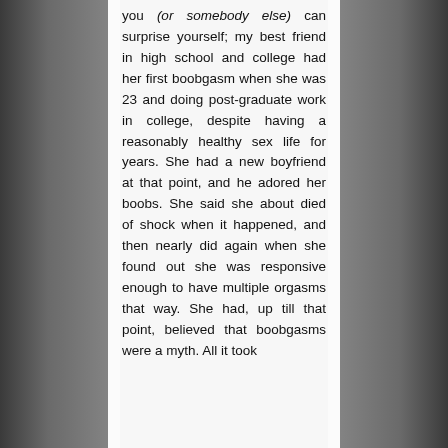[Figure (photo): Black and white background photo of a person on a bed, partially visible on the left and right sides behind a white text panel]
you (or somebody else) can surprise yourself; my best friend in high school and college had her first boobgasm when she was 23 and doing post-graduate work in college, despite having a reasonably healthy sex life for years. She had a new boyfriend at that point, and he adored her boobs. She said she about died of shock when it happened, and then nearly did again when she found out she was responsive enough to have multiple orgasms that way. She had, up till that point, believed that boobgasms were a myth. All it took